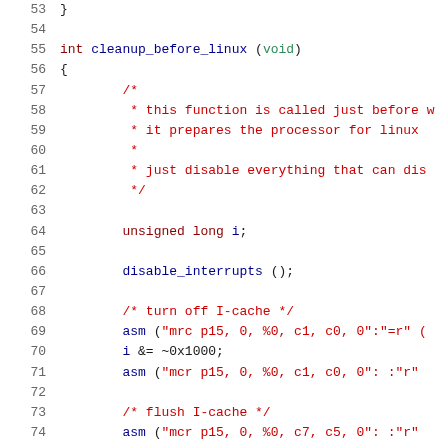[Figure (screenshot): Source code listing showing C function cleanup_before_linux, lines 53-74, with syntax highlighting. Keywords in dark red, comments in red, identifiers in dark blue, on white background.]